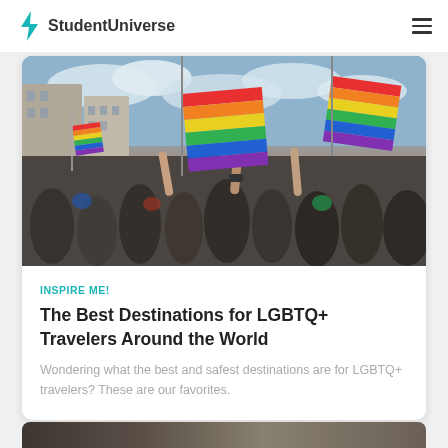StudentUniverse
[Figure (photo): Crowd at a Pride parade holding rainbow flags, with European-style buildings in the background and a cloudy sky]
INSPIRE ME!
The Best Destinations for LGBTQ+ Travelers Around the World
Wondering what the best and safest destinations are for LGBTQ+ travelers? These are our favorites.
[Figure (photo): Bottom partial view of another article image]